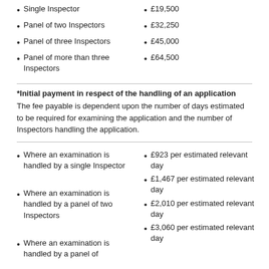Single Inspector
£19,500
Panel of two Inspectors
£32,250
Panel of three Inspectors
£45,000
Panel of more than three Inspectors
£64,500
*Initial payment in respect of the handling of an application
The fee payable is dependent upon the number of days estimated to be required for examining the application and the number of Inspectors handling the application.
Where an examination is handled by a single Inspector
£923 per estimated relevant day
£1,467 per estimated relevant day
Where an examination is handled by a panel of two Inspectors
£2,010 per estimated relevant day
£3,060 per estimated relevant day
Where an examination is handled by a panel of